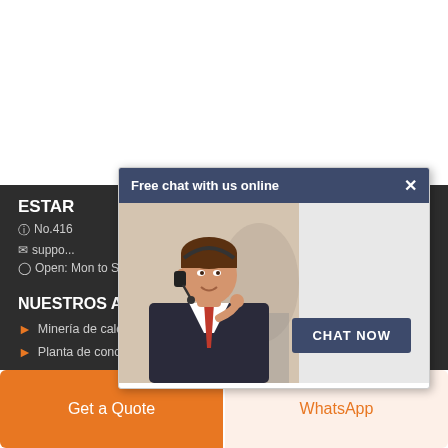ESTAR
No.416 Jianye Road, Pudong, Shanghai
support@...
Open: Mon to Sat: 9AM to 5PM
NUESTROS ASOCIADOS
Minería de calcita y la planta de procesamiento
Planta de concentración de mineral de oro
[Figure (screenshot): Live chat popup with header 'Free chat with us online', a photo of a customer service agent with headset, and a 'CHAT NOW' button]
Get a Quote
WhatsApp